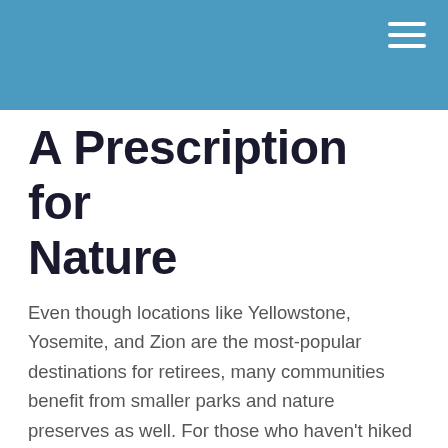A Prescription for Nature
Even though locations like Yellowstone, Yosemite, and Zion are the most-popular destinations for retirees, many communities benefit from smaller parks and nature preserves as well. For those who haven't hiked or camped much, these local areas can be a great way to get started. Even those with more than a few years of national park experience stand to benefit, both physically and mentally, from visiting one of their local wildlife areas. So, before you pack your bags and load up the camper, do yourself a favor and look into what your home offers. You may discover that one of the best ways to stay happy, healthy, and sharp is closer than you think.